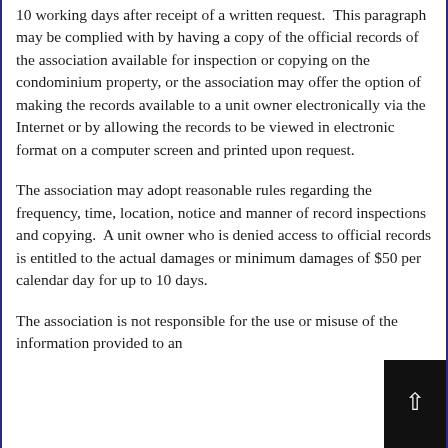10 working days after receipt of a written request. This paragraph may be complied with by having a copy of the official records of the association available for inspection or copying on the condominium property, or the association may offer the option of making the records available to a unit owner electronically via the Internet or by allowing the records to be viewed in electronic format on a computer screen and printed upon request.
The association may adopt reasonable rules regarding the frequency, time, location, notice and manner of record inspections and copying.  A unit owner who is denied access to official records is entitled to the actual damages or minimum damages of $50 per calendar day for up to 10 days.
The association is not responsible for the use or misuse of the information provided to an